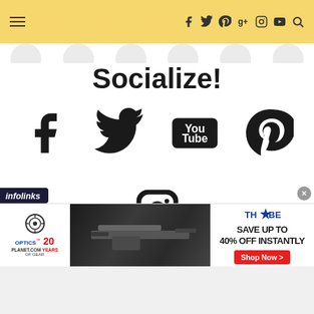Navigation header with menu icon, social icons (facebook, twitter, pinterest, google+, instagram, youtube, search)
Socialize!
[Figure (illustration): Social media icons: Facebook, Twitter, YouTube, Pinterest displayed in a row, then Instagram below]
[Figure (infographic): Advertisement banner: Infolinks bar, Optics Planet 20 Years of Gear, firearm photo, THYBE brand SAVE UP TO 40% OFF INSTANTLY, Shop Now button with close X button]